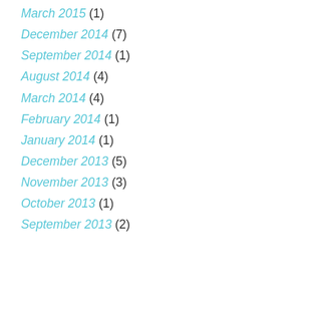March 2015 (1)
December 2014 (7)
September 2014 (1)
August 2014 (4)
March 2014 (4)
February 2014 (1)
January 2014 (1)
December 2013 (5)
November 2013 (3)
October 2013 (1)
September 2013 (2)